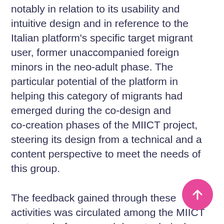notably in relation to its usability and intuitive design and in reference to the Italian platform's specific target migrant user, former unaccompanied foreign minors in the neo-adult phase. The particular potential of the platform in helping this category of migrants had emerged during the co-design and co-creation phases of the MIICT project, steering its design from a technical and a content perspective to meet the needs of this group.
The feedback gained through these activities was circulated among the MIICT partners before a week-long technical break in mid-May 2021, during which